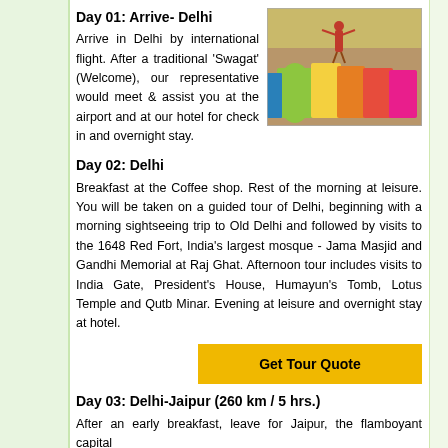Day 01: Arrive- Delhi
Arrive in Delhi by international flight. After a traditional ‘Swagat’ (Welcome), our representative would meet & assist you at the airport and at our hotel for check in and overnight stay.
[Figure (photo): A group of women in colorful traditional Indian saris at what appears to be a festival or fair, with a person visible in the background.]
Day 02: Delhi
Breakfast at the Coffee shop. Rest of the morning at leisure. You will be taken on a guided tour of Delhi, beginning with a morning sightseeing trip to Old Delhi and followed by visits to the 1648 Red Fort, India's largest mosque - Jama Masjid and Gandhi Memorial at Raj Ghat. Afternoon tour includes visits to India Gate, President's House, Humayun’s Tomb, Lotus Temple and Qutb Minar. Evening at leisure and overnight stay at hotel.
Get Tour Quote
Day 03: Delhi-Jaipur (260 km / 5 hrs.)
After an early breakfast, leave for Jaipur, the flamboyant capital